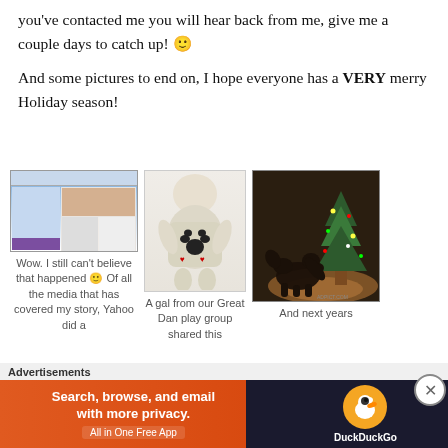you've contacted me you will hear back from me, give me a couple days to catch up! 🙂
And some pictures to end on, I hope everyone has a VERY merry Holiday season!
[Figure (photo): Screenshot of a Yahoo webpage]
Wow. I still can't believe that happened 🙂 Of all the media that has covered my story, Yahoo did a
[Figure (photo): Baby wearing a onesie with a paw print design]
A gal from our Great Dan play group shared this
[Figure (photo): Dog sniffing under Christmas tree in dimly lit room]
And next years
[Figure (infographic): DuckDuckGo advertisement banner: Search, browse, and email with more privacy. All in One Free App]
Advertisements